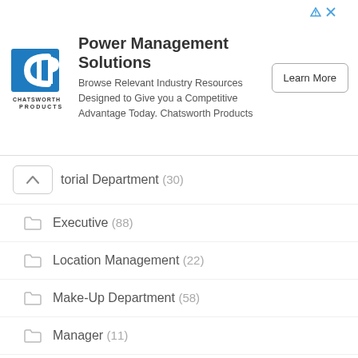[Figure (other): Advertisement banner for Power Management Solutions by Chatsworth Products (CPI). Contains CPI logo, headline, descriptive text, and a Learn More button.]
torial Department (30)
Executive (88)
Location Management (22)
Make-Up Department (58)
Manager (11)
Miscellaneous Crew (1,419)
Music Department (552)
Producer (6,746)
Production Designer (22)
Production Manager (28)